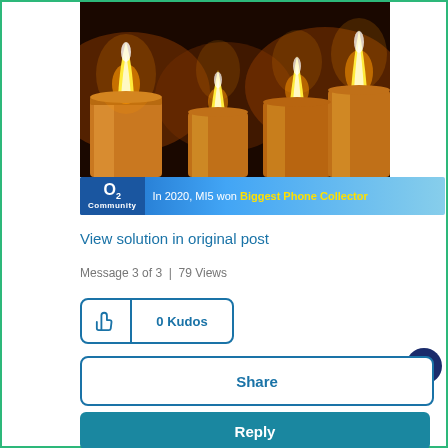[Figure (photo): Close-up photograph of lit amber/orange candles with flames against a dark background]
[Figure (infographic): O2 Community banner: 'In 2020, MI5 won Biggest Phone Collector']
View solution in original post
Message 3 of 3  |  79 Views
[Figure (other): Kudos button showing thumbs up icon and '0 Kudos']
[Figure (other): Share button]
[Figure (other): Reply button]